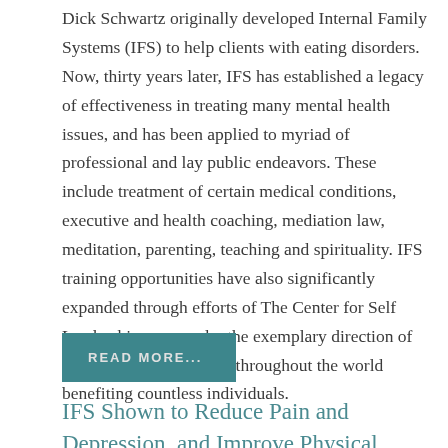Dick Schwartz originally developed Internal Family Systems (IFS) to help clients with eating disorders. Now, thirty years later, IFS has established a legacy of effectiveness in treating many mental health issues, and has been applied to myriad of professional and lay public endeavors. These include treatment of certain medical conditions, executive and health coaching, mediation law, meditation, parenting, teaching and spirituality. IFS training opportunities have also significantly expanded through efforts of The Center for Self Leadership, now under the exemplary direction of Jon Schwartz, with sites throughout the world benefiting countless individuals.
READ MORE...
IFS Shown to Reduce Pain and Depression, and Improve Physical Functioning for...